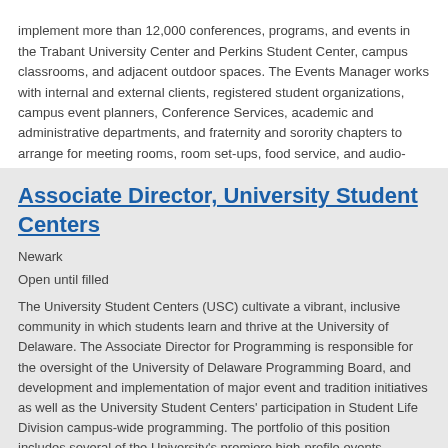implement more than 12,000 conferences, programs, and events in the Trabant University Center and Perkins Student Center, campus classrooms, and adjacent outdoor spaces. The Events Manager works with internal and external clients, registered student organizations, campus event planners, Conference Services, academic and administrative departments, and fraternity and sorority chapters to arrange for meeting rooms, room set-ups, food service, and audio-visual equipment.
Associate Director, University Student Centers
Newark
Open until filled
The University Student Centers (USC) cultivate a vibrant, inclusive community in which students learn and thrive at the University of Delaware. The Associate Director for Programming is responsible for the oversight of the University of Delaware Programming Board, and development and implementation of major event and tradition initiatives as well as the University Student Centers' participation in Student Life Division campus-wide programming. The portfolio of this position includes several of the University's premiere high-profile events including Student Homecoming Week, Parent and Family Weekend Featured Events, Senior Days events, USC Celebrate Series, Trabant Now, Perkins Live, Spring Involvement Fair, Welcome Weekend Events, Campus Breakout, and UD on Stage.